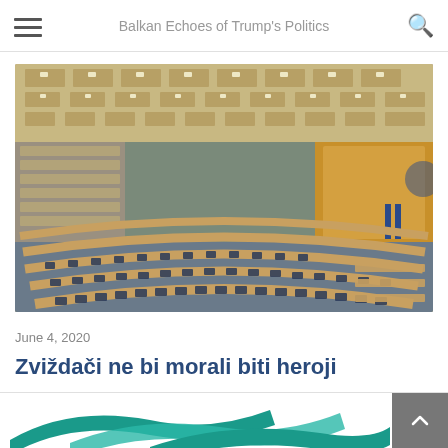Balkan Echoes of Trump's Politics
[Figure (photo): Interior of an empty parliamentary or conference hall with curved rows of wooden desks and blue chairs, viewed from above at an angle. The ceiling has a modern geometric design with rectangular lighting panels.]
June 4, 2020
Zviždači ne bi morali biti heroji
[Figure (logo): Partial logo with teal/green diagonal swoosh shapes visible at the bottom of the page.]